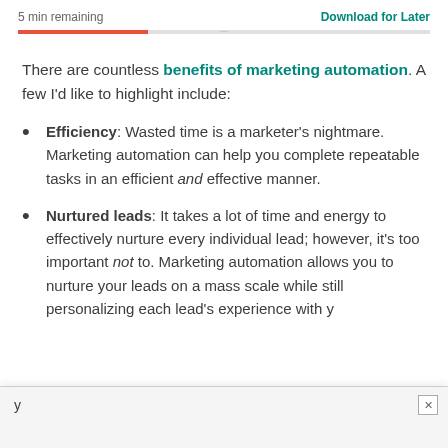5 min remaining    Download for Later
There are countless benefits of marketing automation. A few I'd like to highlight include:
Efficiency: Wasted time is a marketer's nightmare. Marketing automation can help you complete repeatable tasks in an efficient and effective manner.
Nurtured leads: It takes a lot of time and energy to effectively nurture every individual lead; however, it's too important not to. Marketing automation allows you to nurture your leads on a mass scale while still personalizing each lead's experience with yo